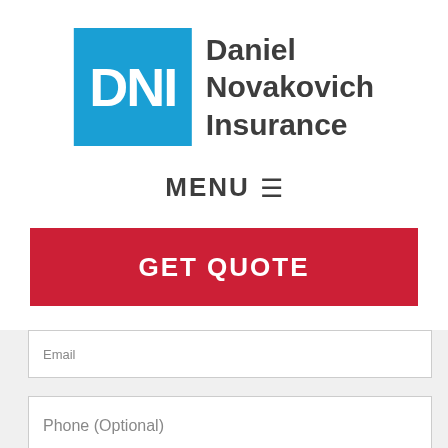[Figure (logo): Daniel Novakovich Insurance logo with blue DNI box and company name text]
MENU ☰
GET QUOTE
Email
Phone (Optional)